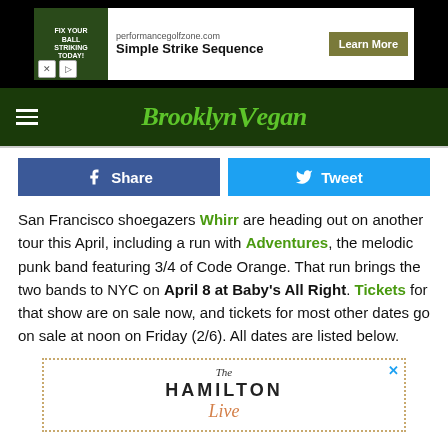[Figure (screenshot): Advertisement banner for performancegolfzone.com - Simple Strike Sequence with Learn More button]
[Figure (logo): BrooklynVegan website logo in green italic script on dark green navigation bar]
[Figure (infographic): Facebook Share button (blue) and Twitter Tweet button (cyan)]
San Francisco shoegazers Whirr are heading out on another tour this April, including a run with Adventures, the melodic punk band featuring 3/4 of Code Orange. That run brings the two bands to NYC on April 8 at Baby's All Right. Tickets for that show are on sale now, and tickets for most other dates go on sale at noon on Friday (2/6). All dates are listed below.
[Figure (screenshot): Advertisement for The Hamilton Live venue]